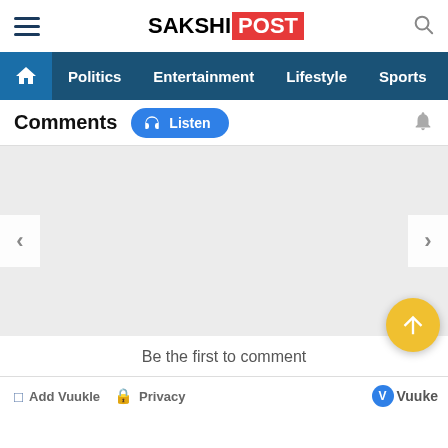SAKSHI POST — Navigation: Home, Politics, Entertainment, Lifestyle, Sports, Vide
Comments
[Figure (other): Carousel/slider area with left and right navigation arrows on a grey background]
Be the first to comment
Add Vuukle  Privacy  Vuuke
Related news